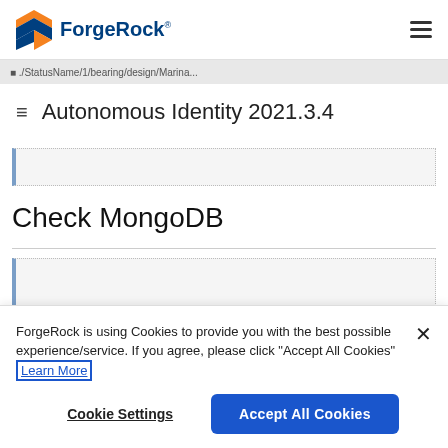ForgeRock
Autonomous Identity 2021.3.4
Check MongoDB
ForgeRock is using Cookies to provide you with the best possible experience/service. If you agree, please click "Accept All Cookies" Learn More
Cookie Settings
Accept All Cookies